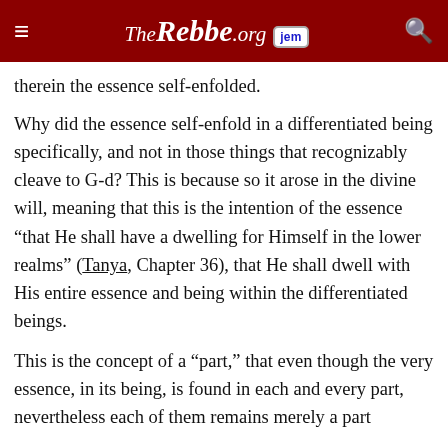TheRebbe.org [jem]
…therein the essence self-enfolded.
Why did the essence self-enfold in a differentiated being specifically, and not in those things that recognizably cleave to G-d? This is because so it arose in the divine will, meaning that this is the intention of the essence “that He shall have a dwelling for Himself in the lower realms” (Tanya, Chapter 36), that He shall dwell with His entire essence and being within the differentiated beings.
This is the concept of a “part,” that even though the very essence, in its being, is found in each and every part, nevertheless each of them remains merely a part…